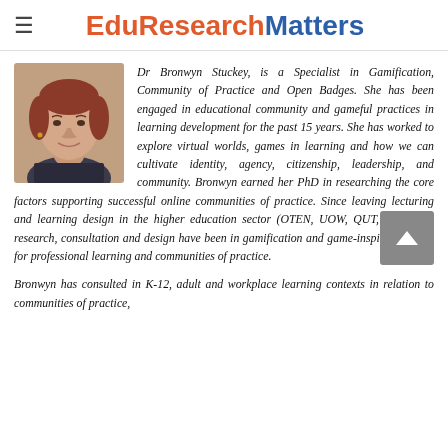EduResearchMatters
[Figure (photo): Headshot photo of Dr Bronwyn Stuckey, a woman with reddish-brown hair]
Dr Bronwyn Stuckey, is a Specialist in Gamification, Community of Practice and Open Badges. She has been engaged in educational community and gameful practices in learning development for the past 15 years. She has worked to explore virtual worlds, games in learning and how we can cultivate identity, agency, citizenship, leadership, and community. Bronwyn earned her PhD in researching the core factors supporting successful online communities of practice. Since leaving lecturing and learning design in the higher education sector (OTEN, UOW, QUT, UWS) her research, consultation and design have been in gamification and game-inspired designs for professional learning and communities of practice.
Bronwyn has consulted in K-12, adult and workplace learning contexts in relation to communities of practice,